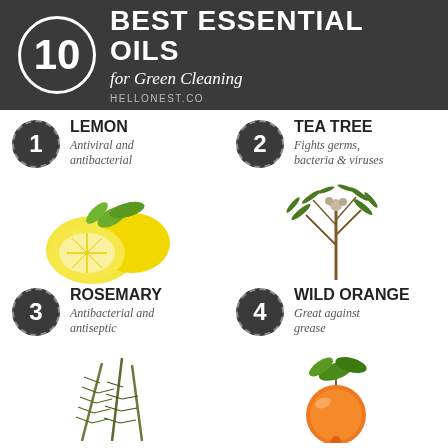[Figure (infographic): Infographic header with dark background showing '10 Best Essential Oils for Green Cleaning' with a large circled number 10 and website hellonest.co]
1 LEMON — Antiviral and antibacterial
[Figure (photo): Photo of lemons with leaves, one cut in half]
2 TEA TREE — Fights germs, bacteria & viruses
[Figure (photo): Photo of tea tree branch with leaves]
3 ROSEMARY — Antibacterial and antiseptic
[Figure (photo): Photo of rosemary sprigs]
4 WILD ORANGE — Great against grease
[Figure (photo): Photo of an orange with leaves]